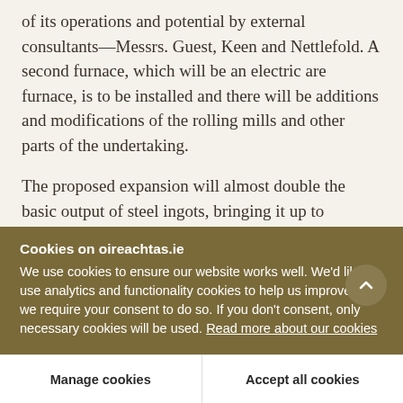of its operations and potential by external consultants—Messrs. Guest, Keen and Nettlefold. A second furnace, which will be an electric are furnace, is to be installed and there will be additions and modifications of the rolling mills and other parts of the undertaking.

The proposed expansion will almost double the basic output of steel ingots, bringing it up to between 135,000 and 150,000 tons per annum. A
Cookies on oireachtas.ie
We use cookies to ensure our website works well. We'd like to use analytics and functionality cookies to help us improve it but we require your consent to do so. If you don't consent, only necessary cookies will be used. Read more about our cookies
Manage cookies
Accept all cookies